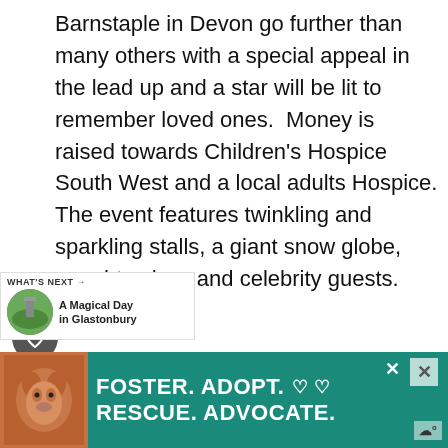Barnstaple in Devon go further than many others with a special appeal in the lead up and a star will be lit to remember loved ones.  Money is raised towards Children's Hospice South West and a local adults Hospice. The event features twinkling and sparkling stalls, a giant snow globe, naughty elves and celebrity guests.
...ristchurch in Dorset boasts real reindeer, ...nd a chance to dress up for photos, their switch on is done by a local television personality...
[Figure (other): What's Next widget showing: WHAT'S NEXT → A Magical Day in Glastonbury, with a circular photo of Glastonbury Tor]
[Figure (other): Advertisement banner at bottom: dog photo on left, teal/green background, text reads FOSTER. ADOPT. ♡ ♡ RESCUE. ADVOCATE. with close buttons]